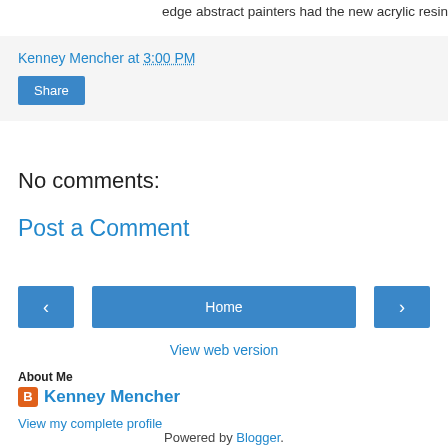edge abstract painters had the new acrylic resin
Kenney Mencher at 3:00 PM
Share
No comments:
Post a Comment
‹
Home
›
View web version
About Me
Kenney Mencher
View my complete profile
Powered by Blogger.